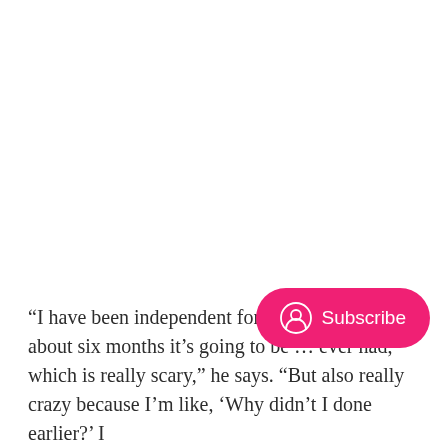“I have been independent for more tha…w. In about six months it’s going to be … ever had, which is really scary,” he says. “But also really crazy because I’m like, ‘Why didn’t I done earlier?’ I
[Figure (other): A pink/hot-pink rounded pill-shaped Subscribe button with a user/person circle icon on the left and the word Subscribe in white text.]